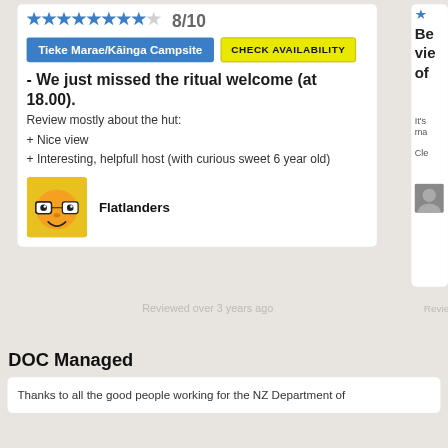[Figure (other): Star rating row showing 8 filled blue stars and 2 grey stars, with score 8/10]
Tieke Marae/Kāinga Campsite  CHECK AVAILABILITY
- We just missed the ritual welcome (at 18.00).
Review mostly about the hut:
+ Nice view
+ Interesting, helpfull host (with curious sweet 6 year old)
[Figure (illustration): Yellow avatar icon with cartoon face wearing glasses — Flatlanders user avatar]
Flatlanders
Reviewed over 3 years ago
DOC Managed
Thanks to all the good people working for the NZ Department of